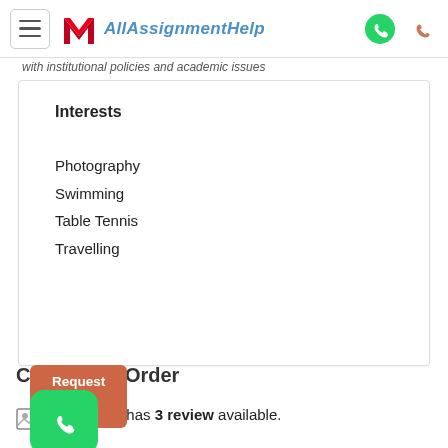AllAssignmentHelp
with institutional policies and academic issues
Interests
Photography
Swimming
Table Tennis
Travelling
Completed Order
cott has 3 review available.